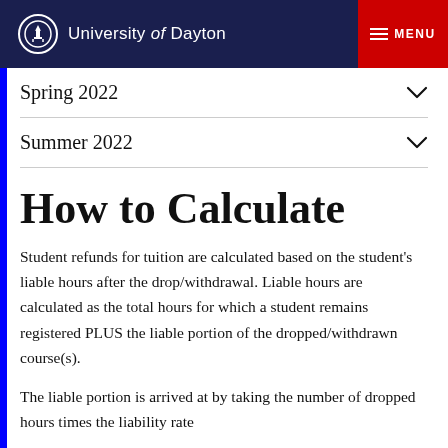University of Dayton — MENU
Spring 2022
Summer 2022
How to Calculate
Student refunds for tuition are calculated based on the student's liable hours after the drop/withdrawal. Liable hours are calculated as the total hours for which a student remains registered PLUS the liable portion of the dropped/withdrawn course(s).
The liable portion is arrived at by taking the number of dropped hours times the liability rate